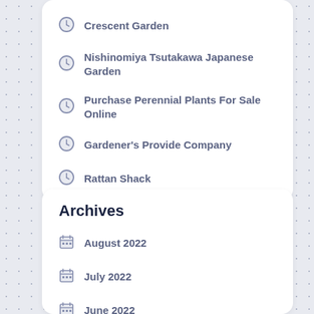Crescent Garden
Nishinomiya Tsutakawa Japanese Garden
Purchase Perennial Plants For Sale Online
Gardener's Provide Company
Rattan Shack
Archives
August 2022
July 2022
June 2022
May 2022